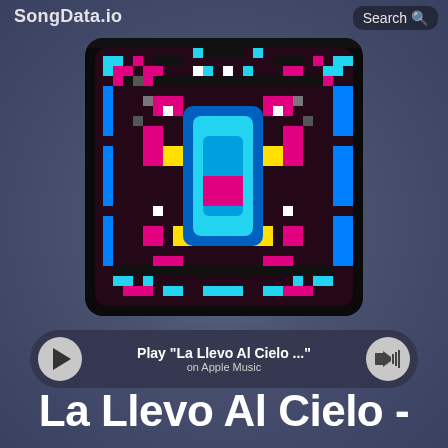SongData.io
Search
[Figure (illustration): Pixel art album cover with colorful mandala/butterfly pattern in magenta, cyan, blue, yellow, black, white on rounded square background]
Play "La Llevo Al Cielo ..." on Apple Music
La Llevo Al Cielo -